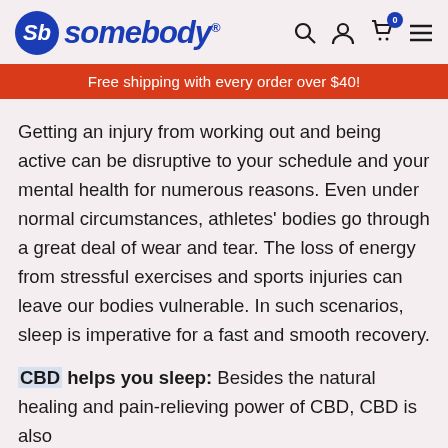somebody® | navigation icons
Free shipping with every order over $40!
Getting an injury from working out and being active can be disruptive to your schedule and your mental health for numerous reasons. Even under normal circumstances, athletes' bodies go through a great deal of wear and tear. The loss of energy from stressful exercises and sports injuries can leave our bodies vulnerable. In such scenarios, sleep is imperative for a fast and smooth recovery.
CBD helps you sleep: Besides the natural healing and pain-relieving power of CBD, CBD is also